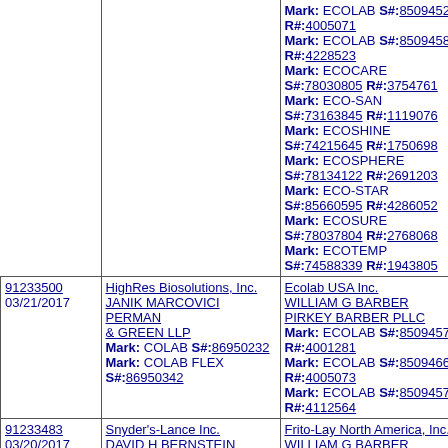| Case/Date | Plaintiff | Defendant |
| --- | --- | --- |
| (continued) | (continued) | Mark: ECOLAB S#:85094527 R#:4005071
Mark: ECOLAB S#:85094582 R#:4228523
Mark: ECOCARE S#:78030805 R#:3754761
Mark: ECO-SAN S#:73163845 R#:1119076
Mark: ECOSHINE S#:74215645 R#:1750698
Mark: ECOSPHERE S#:78134122 R#:2691203
Mark: ECO-STAR S#:85660595 R#:4286052
Mark: ECOSURE S#:78037804 R#:2768068
Mark: ECOTEMP S#:74588339 R#:1943805 |
| 91233500
03/21/2017 | HighRes Biosolutions, Inc.
JANIK MARCOVICI PERMAN & GREEN LLP
Mark: COLAB S#:86950232
Mark: COLAB FLEX S#:86950342 | Ecolab USA Inc.
WILLIAM G BARBER
PIRKEY BARBER PLLC
Mark: ECOLAB S#:85094570 R#:4001281
Mark: ECOLAB S#:85094661 R#:4005073
Mark: ECOLAB S#:85094576 R#:4112564 |
| 91233483
03/20/2017 | Snyder's-Lance Inc.
DAVID H BERNSTEIN
DEBEVOISE & PLIMPTON | Frito-Lay North America, Inc.
WILLIAM G BARBER
PIRKEY BARBER PLLC |